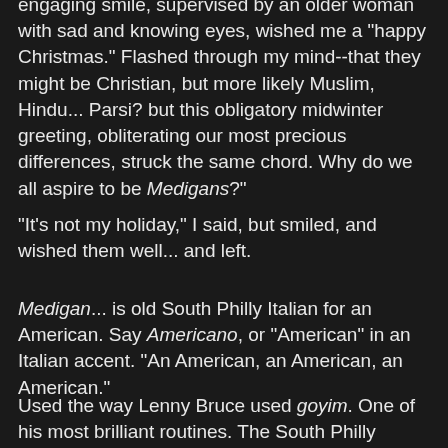engaging smile, supervised by an older woman with sad and knowing eyes, wished me a "happy Christmas." Flashed through my mind--that they might be Christian, but more likely Muslim, Hindu... Parsi? but this obligatory midwinter greeting, obliterating our most precious differences, struck the same chord. Why do we all aspire to be Medigans?"
"It's not my holiday," I said, but smiled, and wished them well... and left.
Medigan... is old South Philly Italian for an American. Say Americano, or "American" in an Italian accent. "An American, an American, an American."
Used the way Lenny Bruce used goyim. One of his most brilliant routines. The South Philly Italians would have been for Bruce, Jews. The Old Order Mennonites in Ohio, were Jews. Whoever remained distinct, identifiable, were Jews. The great assimilated herd who saw everyone else as "other"... they were the goyim, the Medigans.
A few blocks away, at Geno's steaks ( a local icon and tourist trap, if you have to, please, go to Pats!) they went to belie...